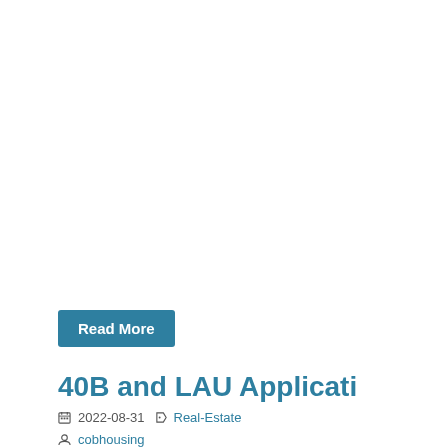Read More
40B and LAU Applicati
2022-08-31  Real-Estate
cobhousing